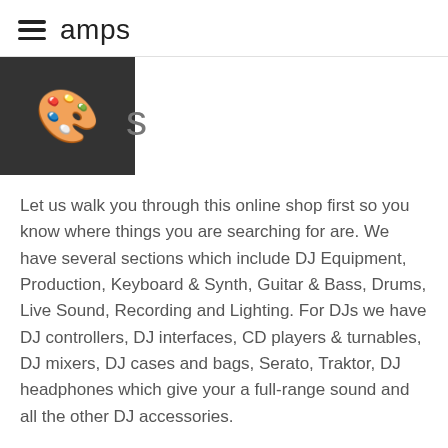amps
[Figure (illustration): Dark grey square banner with a paint palette emoji icon and the letter 's' visible to the right]
Let us walk you through this online shop first so you know where things you are searching for are. We have several sections which include DJ Equipment, Production, Keyboard & Synth, Guitar & Bass, Drums, Live Sound, Recording and Lighting. For DJs we have DJ controllers, DJ interfaces, CD players & turnables, DJ mixers, DJ cases and bags, Serato, Traktor, DJ headphones which give your a full-range sound and all the other DJ accessories.
Sort by
Manufacturer:
Product Price -/+
Select manufacturer
Results 1 - 6 of 6